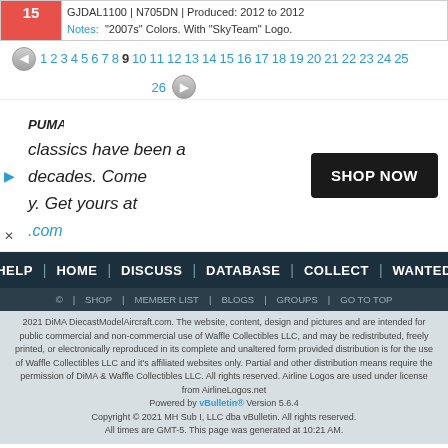| # | Info |
| --- | --- |
| 15 | GJDAL1100 | N705DN | Produced: 2012 to 2012
Notes: "2007s" Colors. With "SkyTeam" Logo. |
1 2 3 4 5 6 7 8 9 10 11 12 13 14 15 16 17 18 19 20 21 22 23 24 25 26
[Figure (advertisement): Puma advertisement with text 'classics have been a decades. Come y. Get yours at .com' and a 'SHOP NOW' button]
HELP | HOME | DISCUSS | DATABASE | COLLECT | WANTED
© | SHOP | MEMBER LIST | BLOGS | GROUPS | GO TO TOP
2021 DiMA DiecastModelAircraft.com. The website, content, design and pictures and are intended for public commercial and non-commercial use of Waffle Collectibles LLC, and may be redistributed, freely printed, or electronically reproduced in its complete and unaltered form provided distribution is for the use of Waffle Collectibles LLC and it's affiliated websites only. Partial and other distribution means require the permission of DiMA & Waffle Collectibles LLC. All rights reserved. Airline Logos are used under license from AirlineLogos.net Powered by vBulletin® Version 5.6.4 Copyright © 2021 MH Sub I, LLC dba vBulletin. All rights reserved. All times are GMT-5. This page was generated at 10:21 AM.